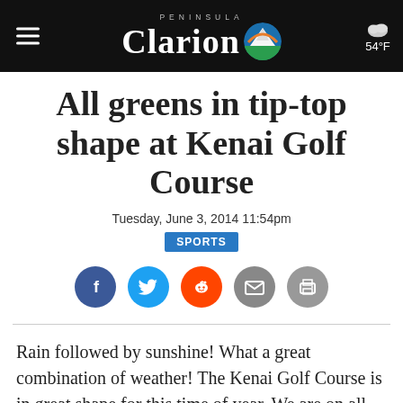Peninsula Clarion — 54°F
All greens in tip-top shape at Kenai Golf Course
Tuesday, June 3, 2014 11:54pm
SPORTS
[Figure (infographic): Social sharing icons: Facebook, Twitter, Reddit, Email, Print]
Rain followed by sunshine! What a great combination of weather! The Kenai Golf Course is in great shape for this time of year. We are on all 18 greens. This is the earliest we have ever been on the 14th green and it is in very good condition. The fairways on holes 15 and 16, usually very wet this time of year, are almost